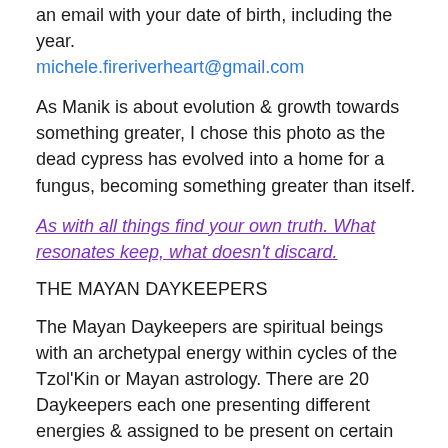an email with your date of birth, including the year.
michele.fireriverheart@gmail.com
As Manik is about evolution & growth towards something greater, I chose this photo as the dead cypress has evolved into a home for a fungus, becoming something greater than itself.
As with all things find your own truth. What resonates keep, what doesn't discard.
THE MAYAN DAYKEEPERS
The Mayan Daykeepers are spiritual beings with an archetypal energy within cycles of the Tzol'Kin or Mayan astrology. There are 20 Daykeepers each one presenting different energies & assigned to be present on certain days of the year. Rotating in a twenty day cycle.